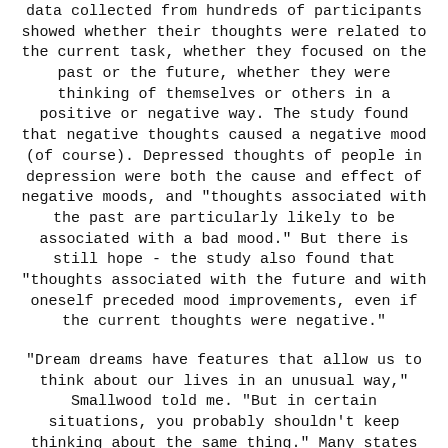data collected from hundreds of participants showed whether their thoughts were related to the current task, whether they focused on the past or the future, whether they were thinking of themselves or others in a positive or negative way. The study found that negative thoughts caused a negative mood (of course). Depressed thoughts of people in depression were both the cause and effect of negative moods, and "thoughts associated with the past are particularly likely to be associated with a bad mood." But there is still hope - the study also found that "thoughts associated with the future and with oneself preceded mood improvements, even if the current thoughts were negative."
“Dream dreams have features that allow us to think about our lives in an unusual way,” Smallwood told me. “But in certain situations, you probably shouldn’t keep thinking about the same thing.” Many states of chronic unhappiness are probably related to the wandering of the mind simply because the mind keeps revisiting the bad.”